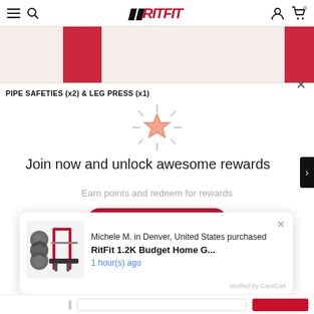FFRITFIT navigation bar with hamburger menu, search, logo, user and cart icons
[Figure (screenshot): Product image strip showing red gym equipment partially visible]
PIPE SAFETIES (x2) & LEG PRESS (x1)
[Figure (illustration): Star icon with sparkle rays indicating rewards]
Join now and unlock awesome rewards
Earn points and redeem for rewards
Join Now
[Figure (screenshot): Purchase notification toast: Michele M. in Denver, United States purchased RitFit 1.2K Budget Home G... 1 hour(s) ago. Verified by CareCart.]